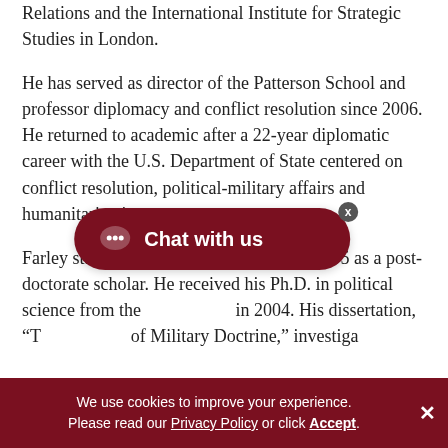Relations and the International Institute for Strategic Studies in London.
He has served as director of the Patterson School and professor diplomacy and conflict resolution since 2006. He returned to academic after a 22-year diplomatic career with the U.S. Department of State centered on conflict resolution, political-military affairs and humanitarian issues.
Farley started at the Patterson School in 2005 as a post-doctorate scholar. He received his Ph.D. in political science from the [university] in 2004. His dissertation, "T[itle about] of Military Doctrine," inves[tigated…]
We use cookies to improve your experience. Please read our Privacy Policy or click Accept.